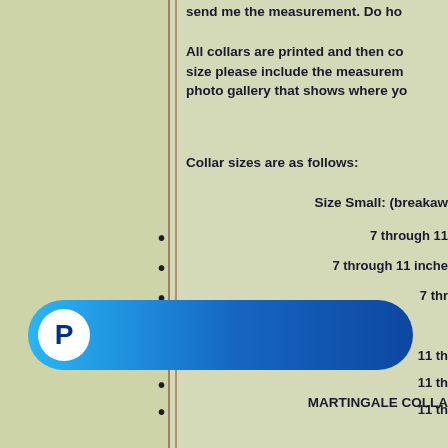send me the measurement. Do ho...
All collars are printed and then co... size please include the measurem... photo gallery that shows where yo...
Collar sizes are as follows:
Size Small: (breakaw...
7 through 11 ...
7 through 11 inche...
7 thr...
11 th...
11 th...
11 th...
Size Large –
Size Extra Large...
[Figure (other): PayPal checkout button - blue rounded pill shape with white PayPal P logo on left]
MARTINGALE COLLA...